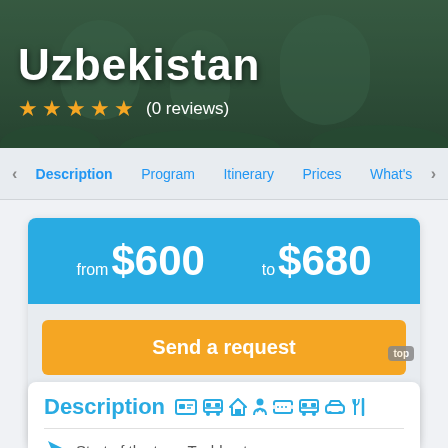Uzbekistan
☆ ☆ ☆ ☆ ☆ (0 reviews)
Description | Program | Itinerary | Prices | What's
from $600   to $680
Send a request
Save   751
Description
Start of the tour: Tashkent